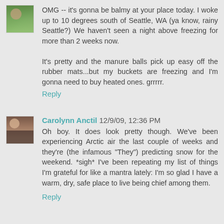OMG -- it's gonna be balmy at your place today. I woke up to 10 degrees south of Seattle, WA (ya know, rainy Seattle?) We haven't seen a night above freezing for more than 2 weeks now.

It's pretty and the manure balls pick up easy off the rubber mats...but my buckets are freezing and I'm gonna need to buy heated ones. grrrrr.
Reply
Carolynn Anctil 12/9/09, 12:36 PM
Oh boy. It does look pretty though. We've been experiencing Arctic air the last couple of weeks and they're (the infamous "They") predicting snow for the weekend. *sigh* I've been repeating my list of things I'm grateful for like a mantra lately: I'm so glad I have a warm, dry, safe place to live being chief among them.
Reply